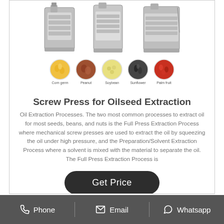[Figure (photo): Three industrial screw press oil extraction machines (stainless steel, vertical) displayed side by side, above five circular images of oilseeds labeled: Corn germ, Peanut, Soybean, Sunflower, Palm fruit]
Screw Press for Oilseed Extraction
Oil Extraction Processes. The two most common processes to extract oil for most seeds, beans, and nuts is the Full Press Extraction Process where mechanical screw presses are used to extract the oil by squeezing the oil under high pressure, and the Preparation/Solvent Extraction Process where a solvent is mixed with the material to separate the oil. The Full Press Extraction Process is
Get Price
Phone   Email   Whatsapp